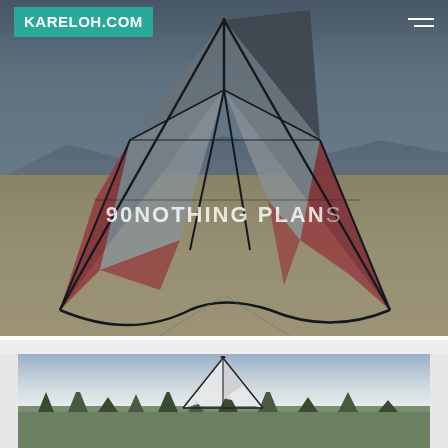[Figure (photo): A stunt kite with white, grey, and red panels photographed on a sandy beach with rocky dunes in the background, dusk lighting. Text overlay reads '90NOTHING PLANS'.]
KARELOH.COM
90NOTHING PLANS
[Figure (photo): A white and black stunt kite photographed against a cloudy sky with trees in the background on a beach.]